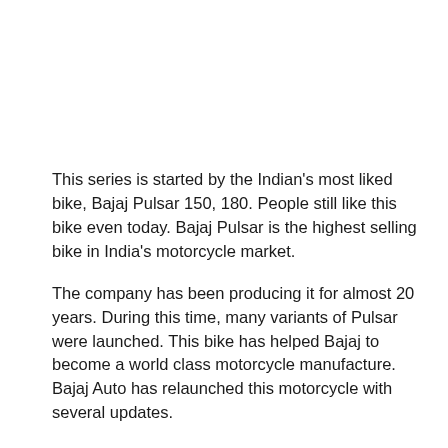This series is started by the Indian's most liked bike, Bajaj Pulsar 150, 180. People still like this bike even today. Bajaj Pulsar is the highest selling bike in India's motorcycle market.
The company has been producing it for almost 20 years. During this time, many variants of Pulsar were launched. This bike has helped Bajaj to become a world class motorcycle manufacture. Bajaj Auto has relaunched this motorcycle with several updates.
Now the Pulsar is the most modern member of the bike and the RS series bike Pulse family. There is similar old design in pulsar 150, 220 f and 180 f pulsar.